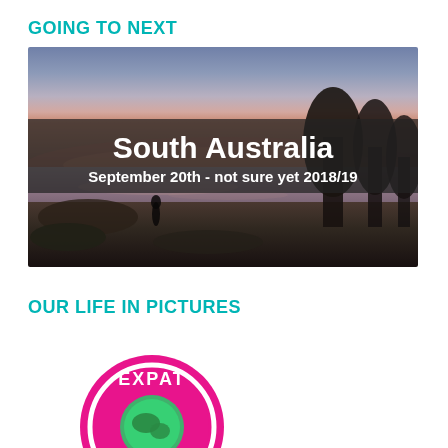GOING TO NEXT
[Figure (photo): Scenic coastal sunset photograph with text overlay reading 'South Australia' and 'September 20th - not sure yet 2018/19']
OUR LIFE IN PICTURES
[Figure (logo): Circular EXPAT logo badge, partially visible at bottom of page, pink/magenta background with white text reading EXPAT and a map graphic]